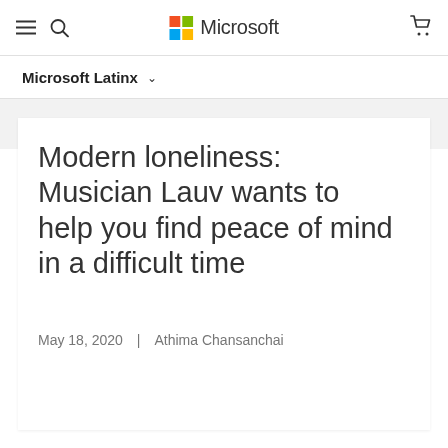Microsoft
Microsoft Latinx
Modern loneliness: Musician Lauv wants to help you find peace of mind in a difficult time
May 18, 2020  |  Athima Chansanchai